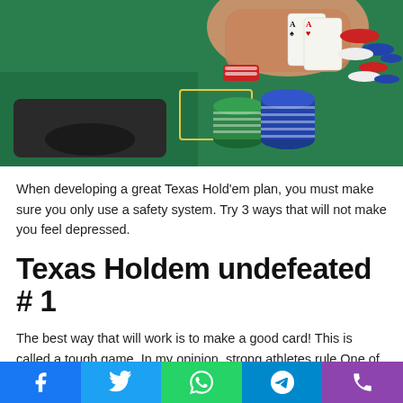[Figure (photo): A hand holding two playing cards (aces) over a green casino poker table with poker chips scattered around, including red, white, blue, and green chips stacked and spread across the felt surface.]
When developing a great Texas Hold'em plan, you must make sure you only use a safety system. Try 3 ways that will not make you feel depressed.
Texas Holdem undefeated # 1
The best way that will work is to make a good card! This is called a tough game. In my opinion, strong athletes rule.One of the first things you should do when playing poker is make
Social share bar: Facebook, Twitter, WhatsApp, Telegram, Phone